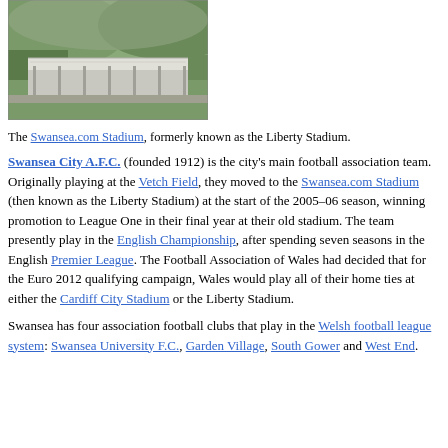[Figure (photo): Aerial photograph of the Swansea.com Stadium (Liberty Stadium) surrounded by green hills and trees]
The Swansea.com Stadium, formerly known as the Liberty Stadium.
Swansea City A.F.C. (founded 1912) is the city's main football association team. Originally playing at the Vetch Field, they moved to the Swansea.com Stadium (then known as the Liberty Stadium) at the start of the 2005–06 season, winning promotion to League One in their final year at their old stadium. The team presently play in the English Championship, after spending seven seasons in the English Premier League. The Football Association of Wales had decided that for the Euro 2012 qualifying campaign, Wales would play all of their home ties at either the Cardiff City Stadium or the Liberty Stadium.
Swansea has four association football clubs that play in the Welsh football league system: Swansea University F.C., Garden Village, South Gower and West End.